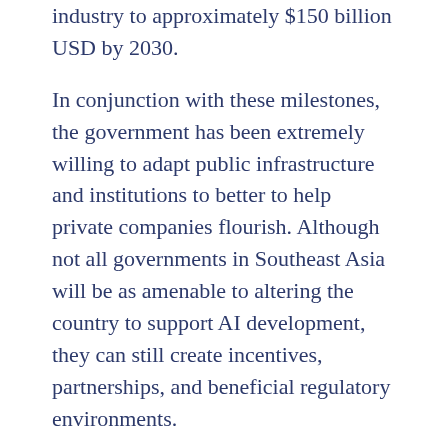industry to approximately $150 billion USD by 2030.
In conjunction with these milestones, the government has been extremely willing to adapt public infrastructure and institutions to better to help private companies flourish. Although not all governments in Southeast Asia will be as amenable to altering the country to support AI development, they can still create incentives, partnerships, and beneficial regulatory environments.
Conclusion
With its own demographics, culture, and